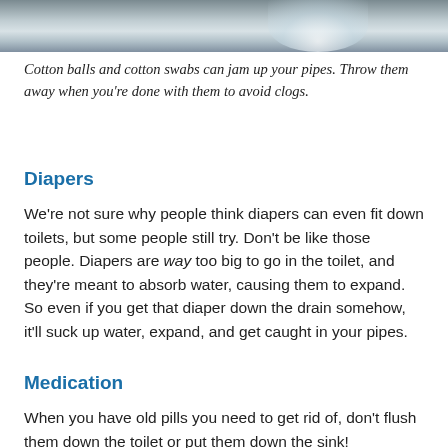[Figure (photo): Close-up photo of cotton balls and a glass container on a surface, cropped at top of page]
Cotton balls and cotton swabs can jam up your pipes. Throw them away when you're done with them to avoid clogs.
Diapers
We're not sure why people think diapers can even fit down toilets, but some people still try. Don't be like those people. Diapers are way too big to go in the toilet, and they're meant to absorb water, causing them to expand. So even if you get that diaper down the drain somehow, it'll suck up water, expand, and get caught in your pipes.
Medication
When you have old pills you need to get rid of, don't flush them down the toilet or put them down the sink!